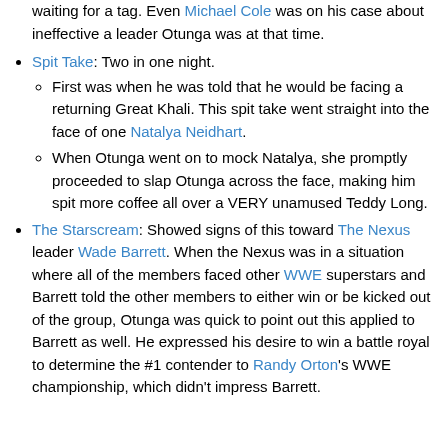waiting for a tag. Even Michael Cole was on his case about ineffective a leader Otunga was at that time.
Spit Take: Two in one night.
First was when he was told that he would be facing a returning Great Khali. This spit take went straight into the face of one Natalya Neidhart.
When Otunga went on to mock Natalya, she promptly proceeded to slap Otunga across the face, making him spit more coffee all over a VERY unamused Teddy Long.
The Starscream: Showed signs of this toward The Nexus leader Wade Barrett. When the Nexus was in a situation where all of the members faced other WWE superstars and Barrett told the other members to either win or be kicked out of the group, Otunga was quick to point out this applied to Barrett as well. He expressed his desire to win a battle royal to determine the #1 contender to Randy Orton's WWE championship, which didn't impress Barrett.